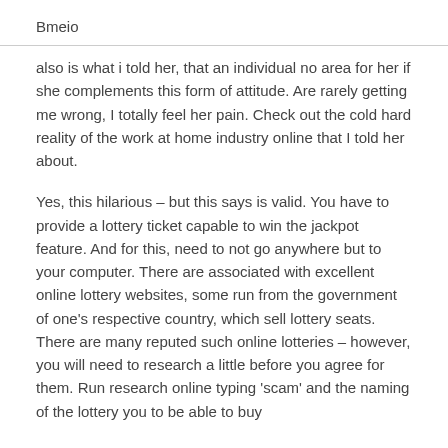Bmeio
also is what i told her, that an individual no area for her if she complements this form of attitude. Are rarely getting me wrong, I totally feel her pain. Check out the cold hard reality of the work at home industry online that I told her about.
Yes, this hilarious – but this says is valid. You have to provide a lottery ticket capable to win the jackpot feature. And for this, need to not go anywhere but to your computer. There are associated with excellent online lottery websites, some run from the government of one's respective country, which sell lottery seats. There are many reputed such online lotteries – however, you will need to research a little before you agree for them. Run research online typing 'scam' and the naming of the lottery you to be able to buy